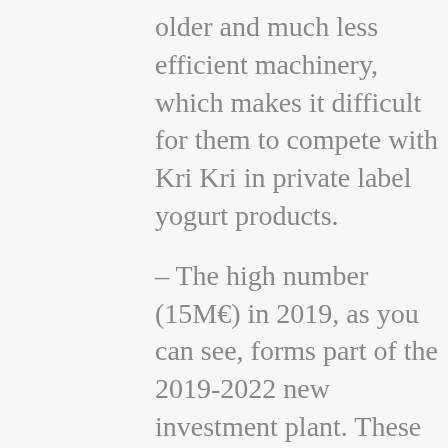older and much less efficient machinery, which makes it difficult for them to compete with Kri Kri in private label yogurt products.
– The high number (15M€) in 2019, as you can see, forms part of the 2019-2022 new investment plant. These are